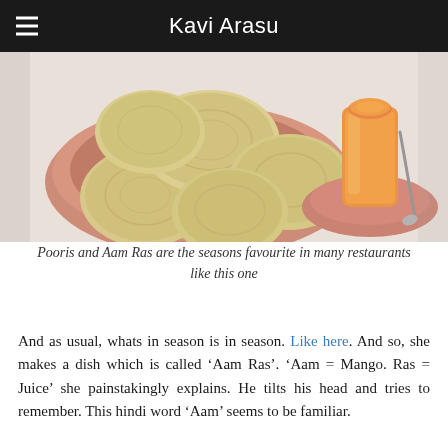Kavi Arasu
[Figure (photo): A plate of pooris (fried Indian bread) in a pink/terracotta bowl, alongside a glass of orange Aam Ras (mango juice) on a terracotta saucer with a spoon, set on a white surface.]
Pooris and Aam Ras are the seasons favourite in many restaurants like this one
And as usual, whats in season is in season. Like here. And so, she makes a dish which is called ‘Aam Ras’. ‘Aam = Mango. Ras = Juice’ she painstakingly explains. He tilts his head and tries to remember. This hindi word ‘Aam’ seems to be familiar.